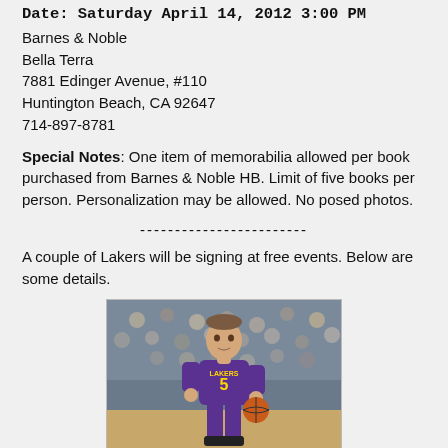Date: Saturday April 14, 2012 3:00 PM
Barnes & Noble
Bella Terra
7881 Edinger Avenue, #110
Huntington Beach, CA 92647
714-897-8781
Special Notes: One item of memorabilia allowed per book purchased from Barnes & Noble HB. Limit of five books per person. Personalization may be allowed. No posed photos.
------------------------
A couple of Lakers will be signing at free events. Below are some details.
[Figure (photo): A Lakers basketball player wearing purple jersey number 5, holding basketball, with crowd in background]